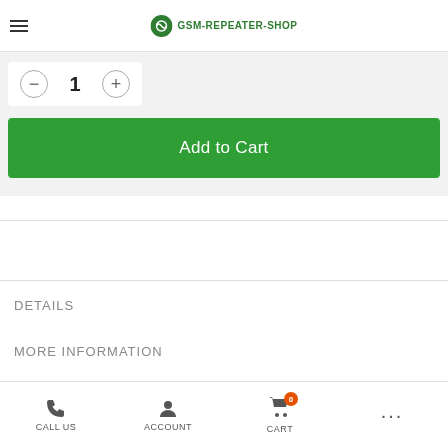GSM-REPEATER-SHOP
1
Add to Cart
DETAILS
MORE INFORMATION
Suitable for all repeaters
CALL US  ACCOUNT  CART  ...